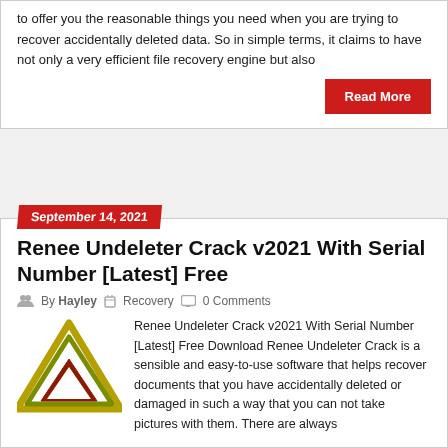to offer you the reasonable things you need when you are trying to recover accidentally deleted data. So in simple terms, it claims to have not only a very efficient file recovery engine but also
Read More
September 14, 2021
Renee Undeleter Crack v2021 With Serial Number [Latest] Free
By Hayley   Recovery   0 Comments
[Figure (logo): Renee Undeleter logo — stylized triangles in gold, olive, and dark red colors]
Renee Undeleter Crack v2021 With Serial Number [Latest] Free Download Renee Undeleter Crack is a sensible and easy-to-use software that helps recover documents that you have accidentally deleted or damaged in such a way that you can not take pictures with them. There are always